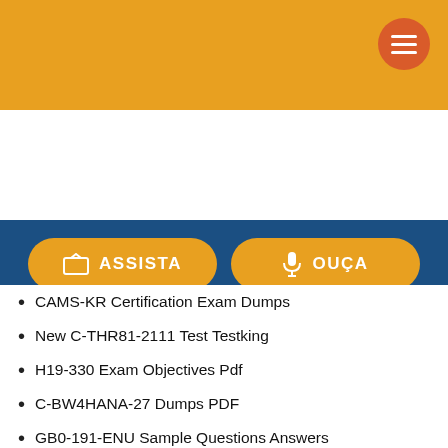[Figure (other): Orange header bar with hamburger menu button]
[Figure (other): Dark blue navigation bar with ASSISTA and OUÇA buttons and social media icons]
CAMS-KR Certification Exam Dumps
New C-THR81-2111 Test Testking
H19-330 Exam Objectives Pdf
C-BW4HANA-27 Dumps PDF
GB0-191-ENU Sample Questions Answers
Valid HPE0-D38 Exam Forum
CRT-403 Certificate Exam
Latest MS-100 Test Question
HPE0-V21 New APP Simulations
New H35-831 Test Papers
H13-711_V3.0 Latest Exam Fee